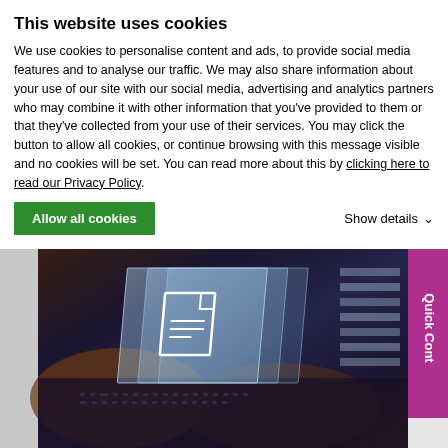This website uses cookies
We use cookies to personalise content and ads, to provide social media features and to analyse our traffic. We may also share information about your use of our site with our social media, advertising and analytics partners who may combine it with other information that you've provided to them or that they've collected from your use of their services. You may click the button to allow all cookies, or continue browsing with this message visible and no cookies will be set. You can read more about this by clicking here to read our Privacy Policy.
Allow all cookies
Show details
[Figure (photo): Person typing on a laptop keyboard with holographic translucent document/file icon overlays in blue/grey tones, with a 'Quick Contact' vertical tab on the right side in magenta/purple color]